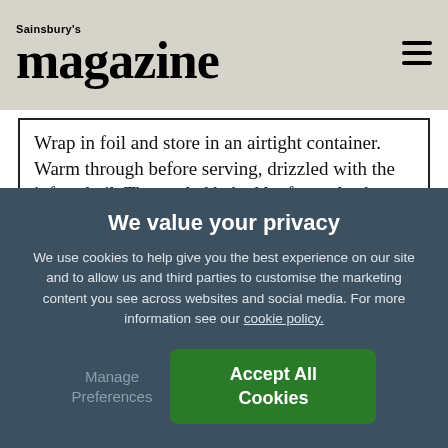Sainsbury's magazine
Wrap in foil and store in an airtight container. Warm through before serving, drizzled with the infused oil. The cooled baked loaf can also be frozen.
1  Toss together the flour with the salt and the yeast. Add 400ml water (tap water is fine) and 50ml of
We value your privacy
We use cookies to help give you the best experience on our site and to allow us and third parties to customise the marketing content you see across websites and social media. For more information see our cookie policy.
Manage Preferences   Accept All Cookies